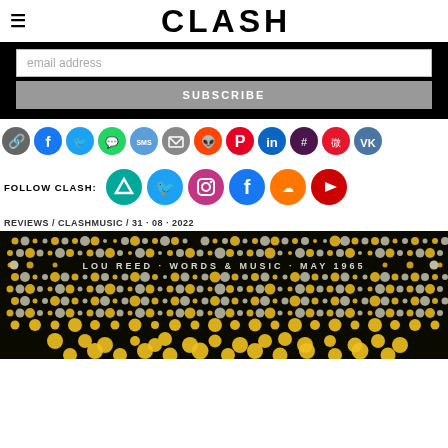CLASH
email address
SUBSCRIBE
[Figure (infographic): Row of social media share icons: link, Facebook, Twitter, WhatsApp, SMS, Email, Reddit, Pinterest, LinkedIn, Slack, Weibo, VK]
FOLLOW CLASH:
[Figure (infographic): Follow Clash social media icons: Vero, Twitter, Instagram, Facebook, SoundCloud, YouTube]
REVIEWS / CLASHMUSIC / 31 · 08 · 2022
[Figure (photo): Album cover for Lou Reed - Words & Music, May 1965. Dark background with halftone dot pattern in yellow and white dots. Text reads: LOU REED · WORDS & MUSIC · MAY 1965]